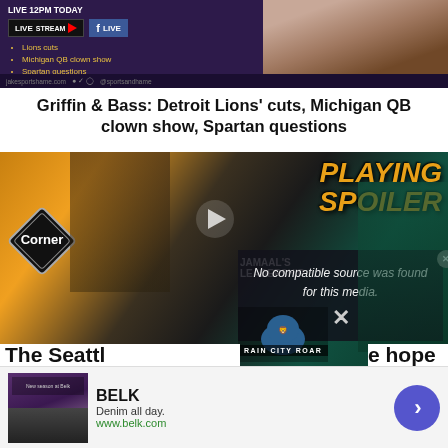[Figure (screenshot): Live stream banner with purple/dark background showing LIVE STREAM and LIVE Facebook badges, bullet list: Lions cuts, Michigan QB clown show, Spartan questions, and a partial photo on the right]
Griffin & Bass: Detroit Lions' cuts, Michigan QB clown show, Spartan questions
[Figure (screenshot): Video thumbnail showing baseball players with 'PLAYING SPOILER' text overlay in orange/gold, with a media error overlay reading 'No compatible source was found for this media.' and an X button, plus JAMAAL'S LEADERSHIP and RAIN CITY ROAR branding, and partial text 'The Seattl...' at bottom]
[Figure (screenshot): Advertisement for BELK: 'Denim all day. www.belk.com' with a clothing image on left and a blue circular arrow button on the right]